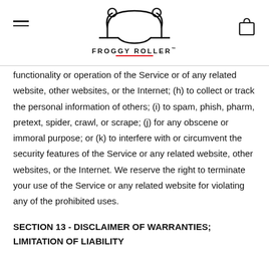FROGGY ROLLER™
functionality or operation of the Service or of any related website, other websites, or the Internet; (h) to collect or track the personal information of others; (i) to spam, phish, pharm, pretext, spider, crawl, or scrape; (j) for any obscene or immoral purpose; or (k) to interfere with or circumvent the security features of the Service or any related website, other websites, or the Internet. We reserve the right to terminate your use of the Service or any related website for violating any of the prohibited uses.
SECTION 13 - DISCLAIMER OF WARRANTIES; LIMITATION OF LIABILITY